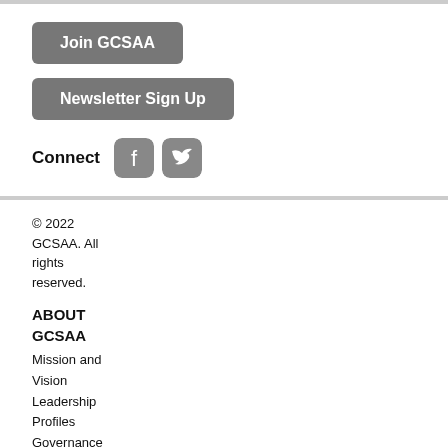Join GCSAA
Newsletter Sign Up
Connect
© 2022 GCSAA. All rights reserved.
ABOUT GCSAA
Mission and Vision
Leadership Profiles
Governance
Financials
Careers at